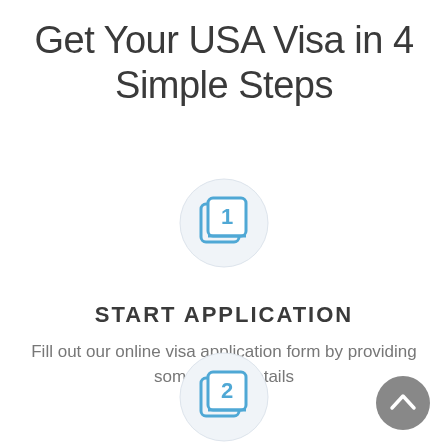Get Your USA Visa in 4 Simple Steps
[Figure (illustration): Step 1 icon: a blue rounded square with the number 1 inside, layered on another square, inside a light circular background]
START APPLICATION
Fill out our online visa application form by providing some basic details
[Figure (illustration): Step 2 icon: a blue rounded square with the number 2 inside, layered on another square, inside a light circular background]
[Figure (illustration): Scroll-to-top button: dark gray circle with white upward chevron arrow]